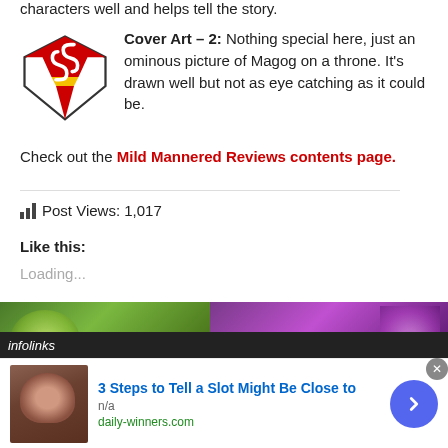characters well and helps tell the story.
Cover Art – 2: Nothing special here, just an ominous picture of Magog on a throne. It's drawn well but not as eye catching as it could be.
Check out the Mild Mannered Reviews contents page.
Post Views: 1,017
Like this:
Loading...
[Figure (photo): Two comic book cover images side by side, one with green tones and one with purple tones]
infolinks
[Figure (photo): Advertisement showing a man's photo with text '3 Steps to Tell a Slot Might Be Close to', n/a, daily-winners.com]